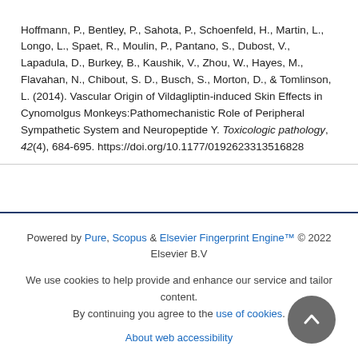Hoffmann, P., Bentley, P., Sahota, P., Schoenfeld, H., Martin, L., Longo, L., Spaet, R., Moulin, P., Pantano, S., Dubost, V., Lapadula, D., Burkey, B., Kaushik, V., Zhou, W., Hayes, M., Flavahan, N., Chibout, S. D., Busch, S., Morton, D., & Tomlinson, L. (2014). Vascular Origin of Vildagliptin-induced Skin Effects in Cynomolgus Monkeys:Pathomechanistic Role of Peripheral Sympathetic System and Neuropeptide Y. Toxicologic pathology, 42(4), 684-695. https://doi.org/10.1177/0192623313516828
Powered by Pure, Scopus & Elsevier Fingerprint Engine™ © 2022 Elsevier B.V
We use cookies to help provide and enhance our service and tailor content. By continuing you agree to the use of cookies
About web accessibility